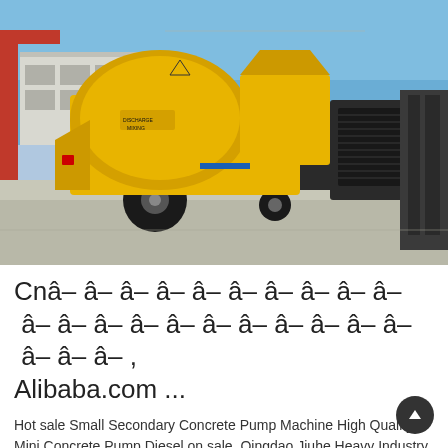[Figure (photo): Yellow concrete pump machine with mixing drum on trailer, parked outdoors on concrete ground. Industrial building and crane visible in background under blue sky.]
Cn，Alibaba.com ...
Hot sale Small Secondary Concrete Pump Machine High Quality Mini Concrete Pump Diesel on sale. Qingdao Jiuhe Heavy Industry Mac Co., Ltd. Zoom.lion23m23X-4Z.